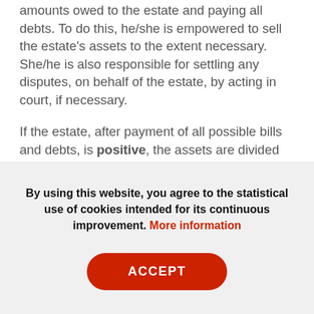amounts owed to the estate and paying all debts. To do this, he/she is empowered to sell the estate's assets to the extent necessary. She/he is also responsible for settling any disputes, on behalf of the estate, by acting in court, if necessary.

If the estate, after payment of all possible bills and debts, is positive, the assets are divided among the heirs according to the share to which they are entitled (the share written in the will or, failing that, the legal share). If, on the other hand, the assets at disposal are not sufficient to pay all the bills and debts, the estate is liquidated by the Bankruptcy Office.
By using this website, you agree to the statistical use of cookies intended for its continuous improvement. More information